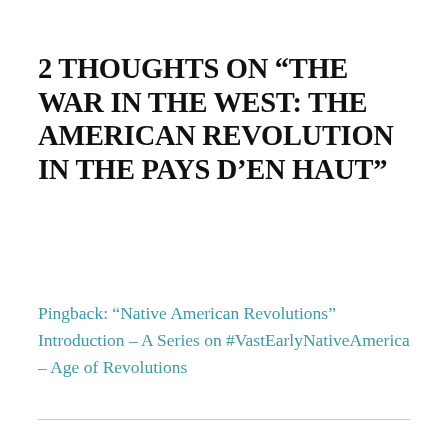2 THOUGHTS ON “THE WAR IN THE WEST: THE AMERICAN REVOLUTION IN THE PAYS D’EN HAUT”
Pingback: “Native American Revolutions” Introduction – A Series on #VastEarlyNativeAmerica – Age of Revolutions